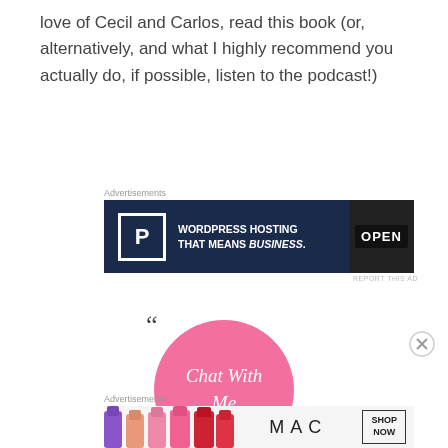love of Cecil and Carlos, read this book (or, alternatively, and what I highly recommend you actually do, if possible, listen to the podcast!)
Advertisements
[Figure (other): WordPress Hosting advertisement banner with dark navy background: letter P in white box, text 'WORDPRESS HOSTING THAT MEANS BUSINESS.' and an OPEN sign photo on right side]
REPORT THIS AD
[Figure (other): Pink circle with white cursive text 'Chat With Me' and decorative quotation marks, close button bottom right]
Advertisements
[Figure (other): MAC cosmetics advertisement banner with lipsticks on left, MAC logo, and SHOP NOW box]